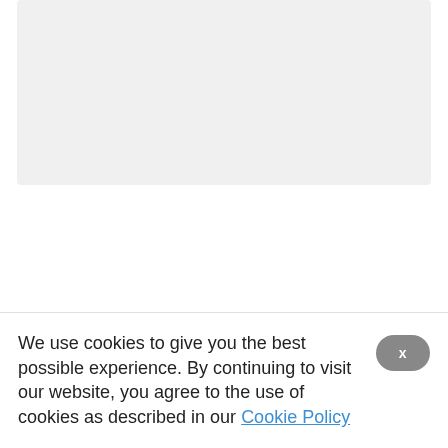[Figure (photo): Placeholder image area at top of page, light gray rectangle]
Bristle dartboard is one of the best dart board for home use in the regular game of the dart as well as the other big games of the tournaments. These boards of bristles usually set for the best players of the dart to take and play a severe game of the dart.
This board of bristles made with perfect sisal fiber or the hemp material. This material in
We use cookies to give you the best possible experience. By continuing to visit our website, you agree to the use of cookies as described in our Cookie Policy